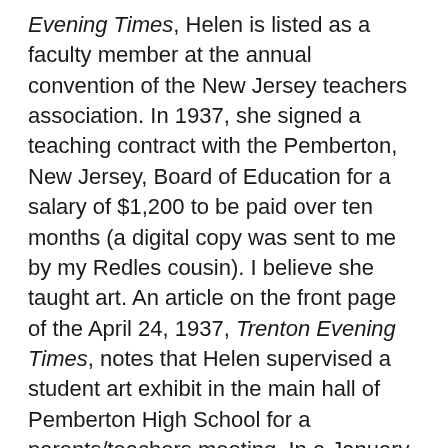Evening Times, Helen is listed as a faculty member at the annual convention of the New Jersey teachers association. In 1937, she signed a teaching contract with the Pemberton, New Jersey, Board of Education for a salary of $1,200 to be paid over ten months (a digital copy was sent to me by my Redles cousin). I believe she taught art. An article on the front page of the April 24, 1937, Trenton Evening Times, notes that Helen supervised a student art exhibit in the main hall of Pemberton High School for a parents/teachers meeting. In a January 12, 1940, article in the Trenton Evening Times, Helen is listed as the supervising teacher for art in the Make Up Day program at Pemberton High School.
According to the 1940 U.S. census for Burlington County, Pemberton, New Jersey, Helen was a lodger at the home of Jenny Woodington and had lived at the same address at least since 1935. Helen was still